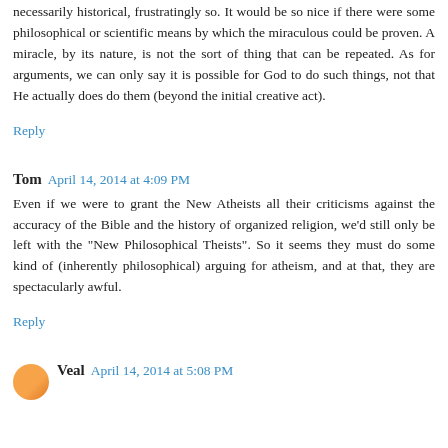necessarily historical, frustratingly so. It would be so nice if there were some philosophical or scientific means by which the miraculous could be proven. A miracle, by its nature, is not the sort of thing that can be repeated. As for arguments, we can only say it is possible for God to do such things, not that He actually does do them (beyond the initial creative act).
Reply
Tom  April 14, 2014 at 4:09 PM
Even if we were to grant the New Atheists all their criticisms against the accuracy of the Bible and the history of organized religion, we'd still only be left with the "New Philosophical Theists". So it seems they must do some kind of (inherently philosophical) arguing for atheism, and at that, they are spectacularly awful.
Reply
Veal  April 14, 2014 at 5:08 PM